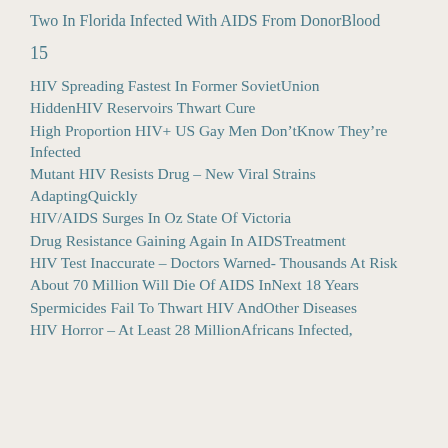Two In Florida Infected With AIDS From Donor Blood
15
HIV Spreading Fastest In Former Soviet Union
Hidden HIV Reservoirs Thwart Cure
High Proportion HIV+ US Gay Men Don't Know They're Infected
Mutant HIV Resists Drug – New Viral Strains Adapting Quickly
HIV/AIDS Surges In Oz State Of Victoria
Drug Resistance Gaining Again In AIDS Treatment
HIV Test Inaccurate – Doctors Warned- Thousands At Risk
About 70 Million Will Die Of AIDS In Next 18 Years
Spermicides Fail To Thwart HIV And Other Diseases
HIV Horror – At Least 28 Million Africans Infected,